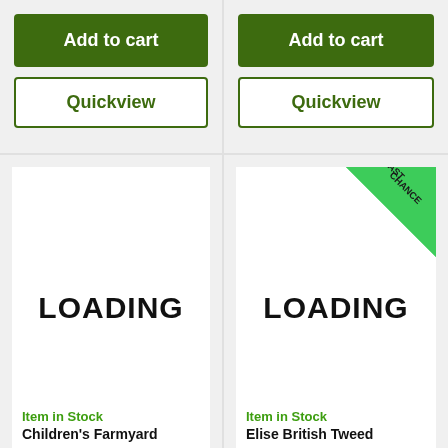[Figure (screenshot): Top-left product card showing Add to cart and Quickview buttons]
[Figure (screenshot): Top-right product card showing Add to cart and Quickview buttons]
[Figure (screenshot): Bottom-left product card showing LOADING placeholder, Item in Stock label, and Children's Farmyard title]
[Figure (screenshot): Bottom-right product card showing LOADING placeholder with LAST CHANCE badge, Item in Stock label, and Elise British Tweed title]